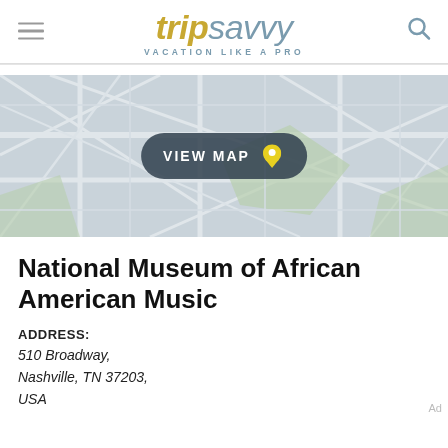tripsavvy VACATION LIKE A PRO
[Figure (map): Street map thumbnail with VIEW MAP button and location pin icon overlay]
National Museum of African American Music
ADDRESS:
510 Broadway,
Nashville, TN 37203,
USA